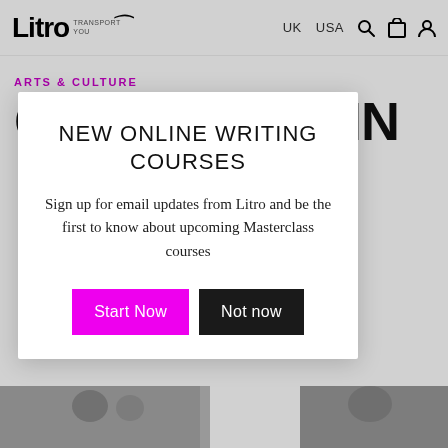Litro – Transport You | UK  USA
ARTS & CULTURE
CONTINUITY IN… DAM LONDON P
[Figure (screenshot): Modal popup overlay with title 'NEW ONLINE WRITING COURSES', body text 'Sign up for email updates from Litro and be the first to know about upcoming Masterclass courses', and two buttons: 'Start Now' (magenta) and 'Not now' (black)]
[Figure (photo): Black and white photograph strip at the bottom of the page showing two people]